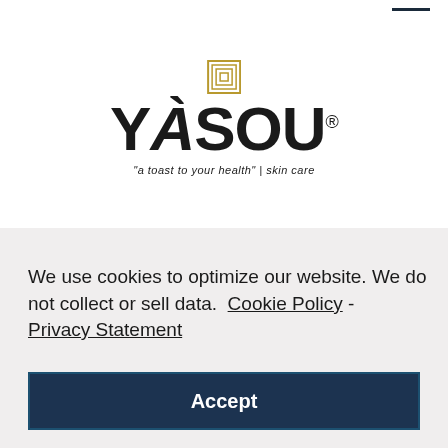[Figure (logo): YASOU skincare brand logo with Greek spiral symbol above text and tagline 'a toast to your health' | skin care]
We use cookies to optimize our website. We do not collect or sell data. Cookie Policy - Privacy Statement
Accept